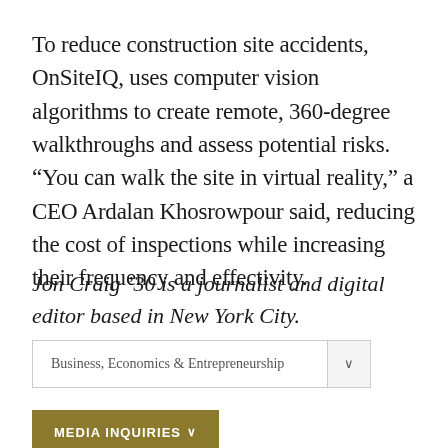To reduce construction site accidents, OnSiteIQ, uses computer vision algorithms to create remote, 360-degree walkthroughs and assess potential risks. “You can walk the site in virtual reality,” a CEO Ardalan Khosrowpour said, reducing the cost of inspections while increasing their frequency and effectivity.
Jon Craig ’30 is a journalist and digital editor based in New York City.
Business, Economics & Entrepreneurship
MEDIA INQUIRIES